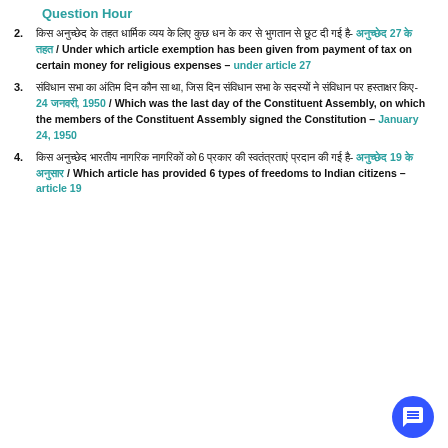Question Hour
किस अनुच्छेद के तहत धार्मिक व्यय के लिए कुछ धन के कर से भुगतान से छूट दी गई है- अनुच्छेद 27 के तहत / Under which article exemption has been given from payment of tax on certain money for religious expenses – under article 27
संविधान सभा का अंतिम दिन कौन सा था, जिस दिन संविधान सभा के सदस्यों ने संविधान पर हस्ताक्षर किए- 24 जनवरी, 1950 / Which was the last day of the Constituent Assembly, on which the members of the Constituent Assembly signed the Constitution – January 24, 1950
किस अनुच्छेद भारतीय नागरिक नागरिकों को 6 प्रकार की स्वतंत्रताएं प्रदान की गई है- अनुच्छेद 19 के अनुसार / Which article has provided 6 types of freedoms to Indian citizens – article 19